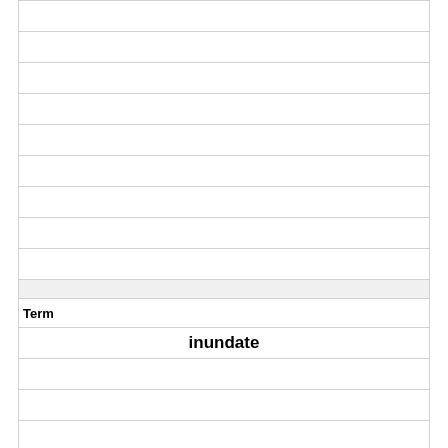|  |
|  |
|  |
|  |
|  |
|  |
|  |
|  |
|  |
|  |
| Term |
| inundate |
|  |
|  |
|  |
|  |
|  |
|  |
|  |
|  |
|  |
| Definition |